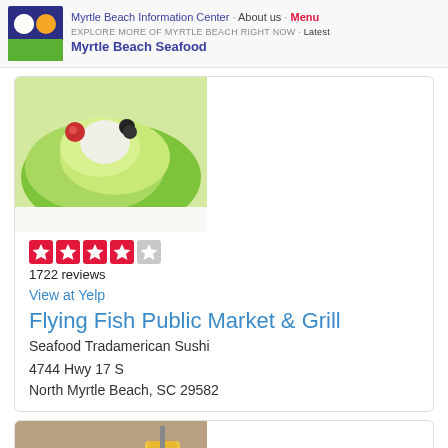Myrtle Beach Information Center · About us · Menu
EXPLORE MORE OF MYRTLE BEACH RIGHT NOW · Latest
Myrtle Beach Seafood
[Figure (photo): Close-up photo of a salad with green lettuce, tomatoes, and olives]
1722 reviews
View at Yelp
Flying Fish Public Market & Grill
Seafood Tradamerican Sushi
4744 Hwy 17 S
North Myrtle Beach, SC 29582
[Figure (photo): Photo of a burger and a drink on a table]